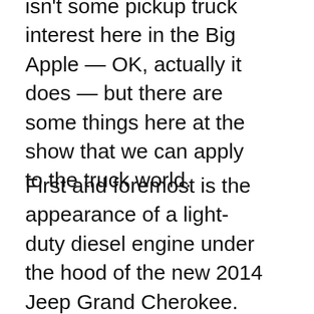isn't some pickup truck interest here in the Big Apple — OK, actually it does — but there are some things here at the show that we can apply to the truck world.
First and foremost is the appearance of a light-duty diesel engine under the hood of the new 2014 Jeep Grand Cherokee. The 3.0-liter EcoDiesel is a fantastic engine — I drove it in the Grand Cherokee last month and can attest to its smoothness, massive torque and wallet-pleasing fuel efficiency. In a Grand Cherokee, the engine is a high-priced alternative to the Hemi V-8. In a Ram 1500, however, where the engine is next expected to show up, it could be an extraordinary workhorse option for buyers whose primary purpose is towing or hauling. Chrysler has been mum on